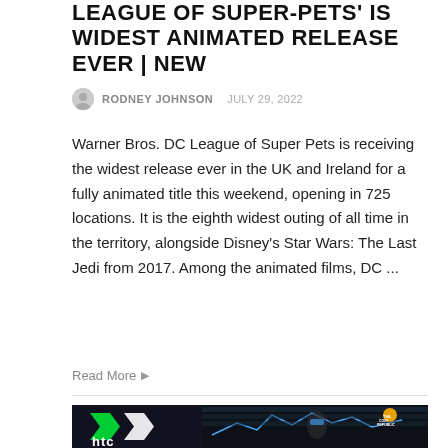LEAGUE OF SUPER-PETS' IS WIDEST ANIMATED RELEASE EVER | NEW
RODNEY JOHNSON  JULY 29, 2022
Warner Bros. DC League of Super Pets is receiving the widest release ever in the UK and Ireland for a fully animated title this weekend, opening in 725 locations. It is the eighth widest outing of all time in the territory, alongside Disney's Star Wars: The Last Jedi from 2017. Among the animated films, DC ...
Read More
[Figure (screenshot): Screenshot of a video or website featuring the HTC logo with green and white branding, a person wearing a VR headset, and a financial/trading chart dashboard in the background. The Coin Republic logo visible in the top right.]